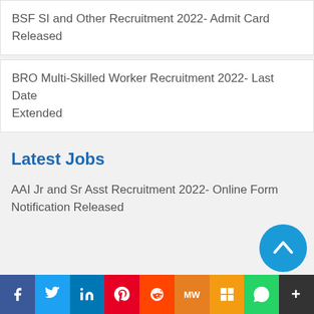BSF SI and Other Recruitment 2022- Admit Card Released
BRO Multi-Skilled Worker Recruitment 2022- Last Date Extended
Latest Jobs
AAI Jr and Sr Asst Recruitment 2022- Online Form Notification Released